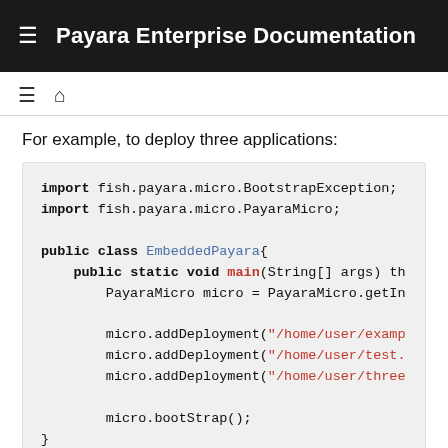Payara Enterprise Documentation
For example, to deploy three applications:
[Figure (screenshot): Java code snippet showing import statements for fish.payara.micro.BootstrapException and fish.payara.micro.PayaraMicro, a public class EmbeddedPayara with a public static void main method, PayaraMicro micro = PayaraMicro.getInstance(), three micro.addDeployment() calls with string paths /home/user/examp..., /home/user/test..., /home/user/three..., and micro.bootStrap();]